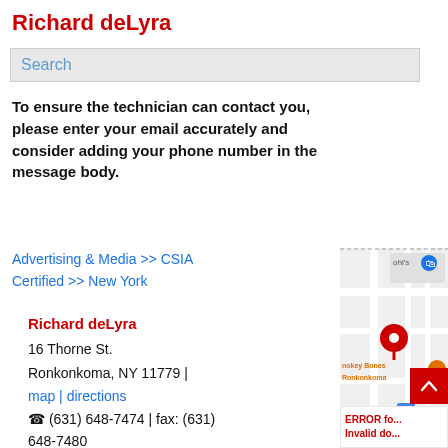Richard deLyra
Search
To ensure the technician can contact you, please enter your email accurately and consider adding your phone number in the message body.
Advertising & Media >> CSIA Certified >> New York
Richard deLyra
16 Thorne St.
Ronkonkoma, NY 11779 | map | directions
☎ (631) 648-7474 | fax: (631) 648-7480
[Figure (map): Google Maps showing location in Ronkonkoma, NY with a red pin marker near Smokey Bones restaurant and railroad area. Kohl's store visible at top.]
ERROR fo... Invalid do...